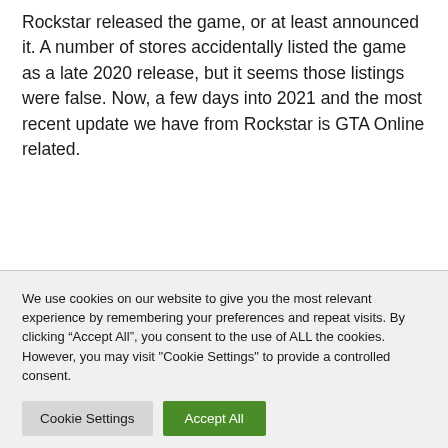Rockstar released the game, or at least announced it. A number of stores accidentally listed the game as a late 2020 release, but it seems those listings were false. Now, a few days into 2021 and the most recent update we have from Rockstar is GTA Online related.
We use cookies on our website to give you the most relevant experience by remembering your preferences and repeat visits. By clicking "Accept All", you consent to the use of ALL the cookies. However, you may visit "Cookie Settings" to provide a controlled consent.